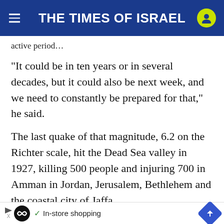THE TIMES OF ISRAEL
active period...
“It could be in ten years or in several decades, but it could also be next week, and we need to constantly be prepared for that,” he said.
The last quake of that magnitude, 6.2 on the Richter scale, hit the Dead Sea valley in 1927, killing 500 people and injuring 700 in Amman in Jordan, Jerusalem, Bethlehem and the coastal city of Jaffa.
ADVERTISEMENT
[Figure (other): Advertisement banner showing an infinity loop logo on the left and a partial photo of a person with blue hair on the right, with a close button.]
[Figure (other): Bottom ad bar with circular logo, checkmark, In-store shopping text, play button, X button, and blue diamond arrow icon.]